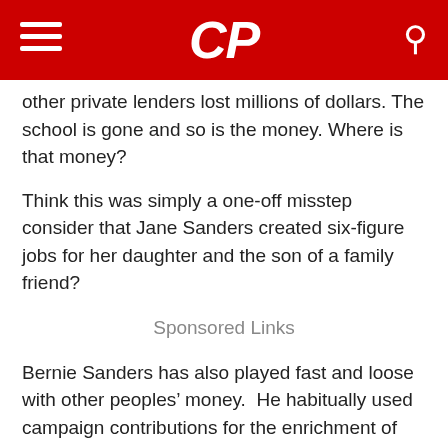CP
other private lenders lost millions of dollars. The school is gone and so is the money. Where is that money?
Think this was simply a one-off misstep consider that Jane Sanders created six-figure jobs for her daughter and the son of a family friend?
Sponsored Links
Bernie Sanders has also played fast and loose with other peoples’ money.  He habitually used campaign contributions for the enrichment of those he holds closest. The Washington Free Beacon reported back in early January of 2016 that:
“Bernie Sanders and his wife have...